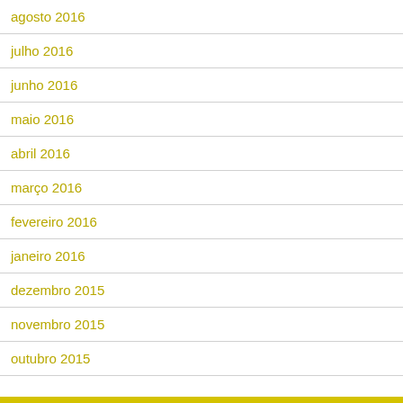agosto 2016
julho 2016
junho 2016
maio 2016
abril 2016
março 2016
fevereiro 2016
janeiro 2016
dezembro 2015
novembro 2015
outubro 2015